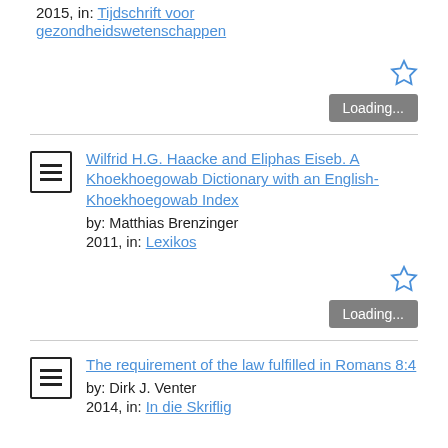2015, in: Tijdschrift voor gezondheidswetenschappen
[Figure (other): Star (bookmark/favorite) icon, outline style, blue]
Loading...
Wilfrid H.G. Haacke and Eliphas Eiseb. A Khoekhoegowab Dictionary with an English-Khoekhoegowab Index
by: Matthias Brenzinger
2011, in: Lexikos
[Figure (other): Star (bookmark/favorite) icon, outline style, blue]
Loading...
The requirement of the law fulfilled in Romans 8:4
by: Dirk J. Venter
2014, in: In die Skriflig